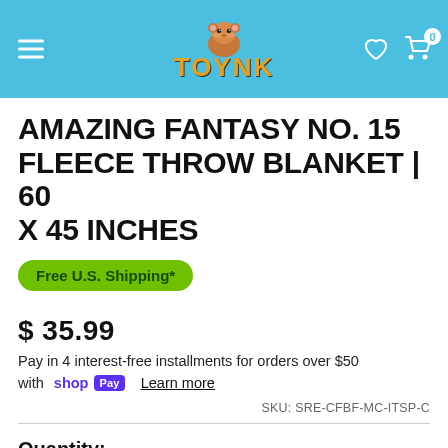TOYNK
AMAZING FANTASY NO. 15 FLEECE THROW BLANKET | 60 X 45 INCHES
Free U.S. Shipping*
$ 35.99
Pay in 4 interest-free installments for orders over $50 with shop Pay  Learn more
SKU: SRE-CFBF-MC-ITSP-C
Quantity:
- 1 +